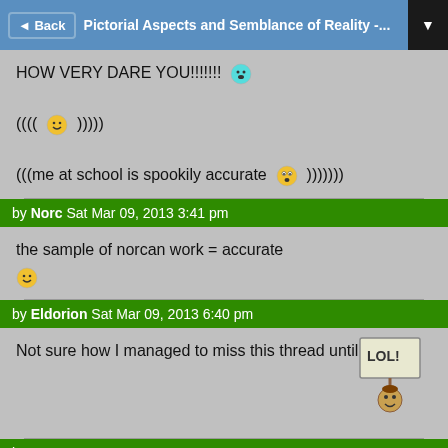Pictorial Aspects and Semblance of Reality -...
HOW VERY DARE YOU!!!!!!! [emoji: surprised face]

(((( [emoji: grinning face] )))))

(((me at school is spookily accurate [emoji: shocked face] )))))))
by Norc Sat Mar 09, 2013 3:41 pm
the sample of norcan work = accurate [emoji: grinning face]
by Eldorion Sat Mar 09, 2013 6:40 pm
Not sure how I managed to miss this thread until now.
by Norc Sat Mar 09, 2013 6:56 pm